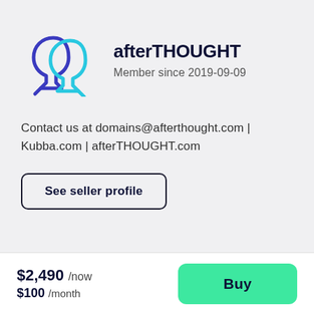[Figure (logo): Two overlapping speech-bubble head silhouettes logo: one dark blue, one cyan blue]
afterTHOUGHT
Member since 2019-09-09
Contact us at domains@afterthought.com | Kubba.com | afterTHOUGHT.com
See seller profile
$2,490 /now
$100 /month
Buy